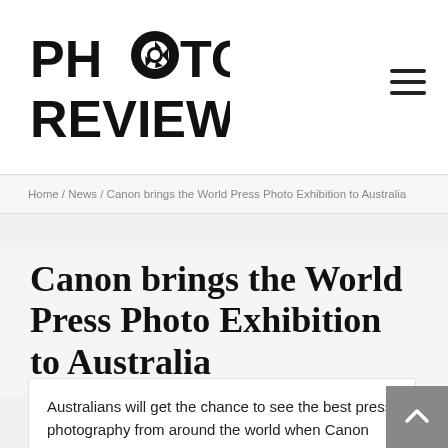[Figure (logo): Photo Review logo with camera aperture replacing the O in PHOTO, bold black text on white background]
Home / News / Canon brings the World Press Photo Exhibition to Australia
Canon brings the World Press Photo Exhibition to Australia
Australians will get the chance to see the best press photography from around the world when Canon Australia showcases the winners of the 2019 World Press Photo contest